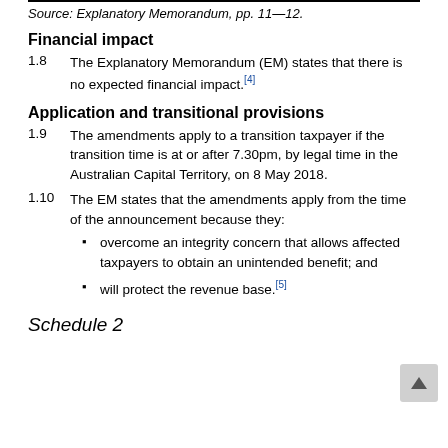Source: Explanatory Memorandum, pp. 11–12.
Financial impact
1.8	The Explanatory Memorandum (EM) states that there is no expected financial impact.[4]
Application and transitional provisions
1.9	The amendments apply to a transition taxpayer if the transition time is at or after 7.30pm, by legal time in the Australian Capital Territory, on 8 May 2018.
1.10	The EM states that the amendments apply from the time of the announcement because they:
overcome an integrity concern that allows affected taxpayers to obtain an unintended benefit; and
will protect the revenue base.[5]
Schedule 2